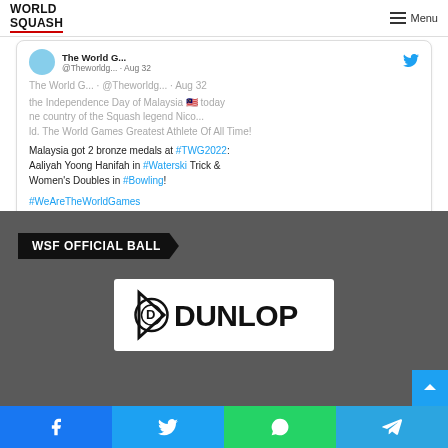World Squash | Menu
The World G... · @Theworldg... · Aug 32
the Independence Day of Malaysia 🇲🇾 today
ne country of the Squash legend Nico...
ld. The World Games Greatest Athlete Of All Time!
Malaysia got 2 bronze medals at #TWG2022: Aaliyah Yoong Hanifah in #Waterski Trick & Women's Doubles in #Bowling!

#WeAreTheWorldGames
[Figure (logo): Dunlop logo on white background inside dark grey section]
WSF OFFICIAL BALL
Facebook | Twitter | WhatsApp | Telegram